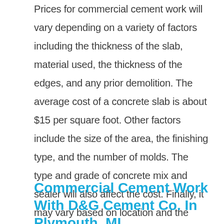Prices for commercial cement work will vary depending on a variety of factors including the thickness of the slab, material used, the thickness of the edges, and any prior demolition. The average cost of a concrete slab is about $15 per square foot. Other factors include the size of the area, the finishing type, and the number of molds. The type and grade of concrete mix and sealer will also affect the cost. Finally, it may vary based on location and the concrete contractors near you.
Commercial Cement Work With D&G Cement Co. In Plymouth, MI